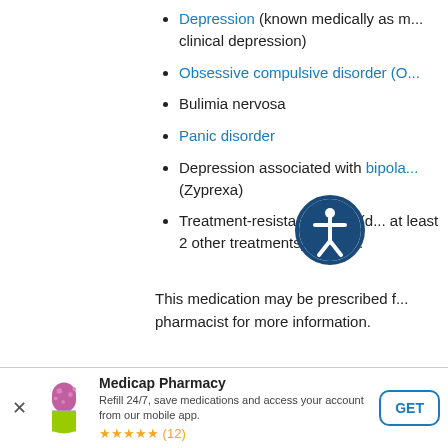Depression (known medically as major depressive disorder or clinical depression)
Obsessive compulsive disorder (O...
Bulimia nervosa
Panic disorder
Depression associated with bipola... (Zyprexa)
Treatment-resistant depression (d... at least 2 other treatments), taken...
This medication may be prescribed f... pharmacist for more information.
[Figure (other): Accessibility icon - person in circle]
[Figure (other): Medicap Pharmacy app banner with pill capsule logo, GET button, star rating (12)]